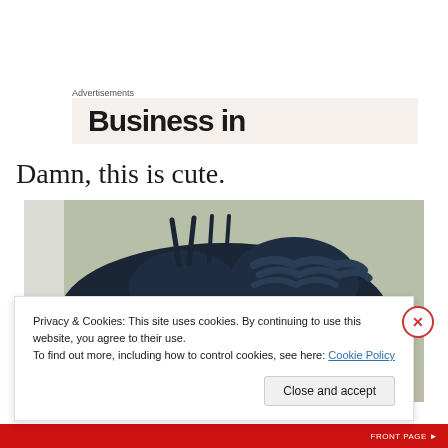Advertisements
[Figure (screenshot): Partial advertisement banner with text 'Business in' visible on a beige/cream background]
Damn, this is cute.
[Figure (photo): Dark navy blue polka dot bikini/swimwear set laid flat on a beige carpet or surface]
Privacy & Cookies: This site uses cookies. By continuing to use this website, you agree to their use.
To find out more, including how to control cookies, see here: Cookie Policy
Close and accept